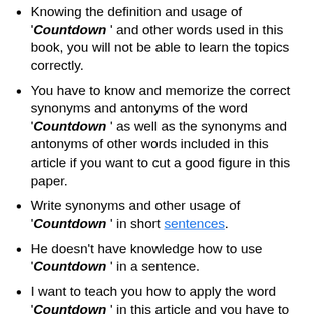Knowing the definition and usage of 'Countdown ' and other words used in this book, you will not be able to learn the topics correctly.
You have to know and memorize the correct synonyms and antonyms of the word 'Countdown ' as well as the synonyms and antonyms of other words included in this article if you want to cut a good figure in this paper.
Write synonyms and other usage of 'Countdown ' in short sentences.
He doesn't have knowledge how to use 'Countdown ' in a sentence.
I want to teach you how to apply the word 'Countdown ' in this article and you have to practice the usage of other words as well.